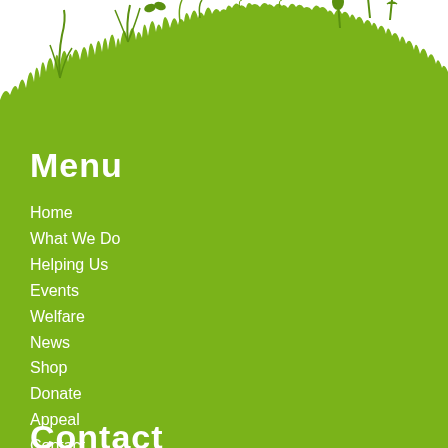[Figure (illustration): Green nature illustration showing silhouettes of grass, plants, and wildflowers against a white background at the top of the page]
Menu
Home
What We Do
Helping Us
Events
Welfare
News
Shop
Donate
Appeal
Contact
Contact